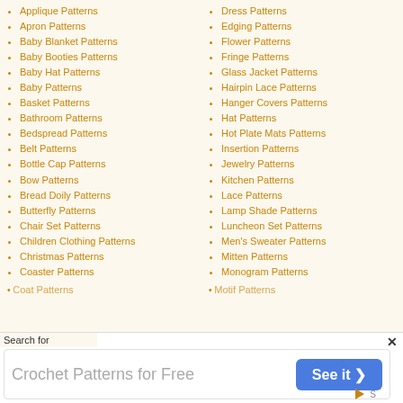Applique Patterns
Apron Patterns
Baby Blanket Patterns
Baby Booties Patterns
Baby Hat Patterns
Baby Patterns
Basket Patterns
Bathroom Patterns
Bedspread Patterns
Belt Patterns
Bottle Cap Patterns
Bow Patterns
Bread Doily Patterns
Butterfly Patterns
Chair Set Patterns
Children Clothing Patterns
Christmas Patterns
Coaster Patterns
Coat Patterns (partial)
Dress Patterns
Edging Patterns
Flower Patterns
Fringe Patterns
Glass Jacket Patterns
Hairpin Lace Patterns
Hanger Covers Patterns
Hat Patterns
Hot Plate Mats Patterns
Insertion Patterns
Jewelry Patterns
Kitchen Patterns
Lace Patterns
Lamp Shade Patterns
Luncheon Set Patterns
Men's Sweater Patterns
Mitten Patterns
Monogram Patterns
Motif Patterns (partial)
Search for
Crochet Patterns for Free
See it ❯